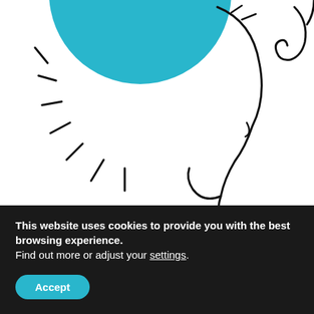[Figure (illustration): Line art illustration of a human head profile facing right with a large teal/cyan circle above (sun or thought bubble) and radiating lines suggesting light or energy, with decorative spiral elements. The image is cropped at the top.]
The secret to being happy is to always be creating happiness. It is something that you actively DO. It isn't something you find...so you can stop looking and start BEING happy right now, today. You are a creator. It is your birthright to use this power to design a life filled with joy. The power... Read More
This website uses cookies to provide you with the best browsing experience. Find out more or adjust your settings.